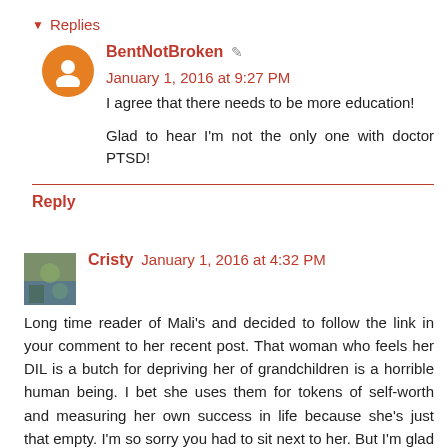Replies
BentNotBroken · January 1, 2016 at 9:27 PM
I agree that there needs to be more education!

Glad to hear I'm not the only one with doctor PTSD!
Reply
Cristy January 1, 2016 at 4:32 PM
Long time reader of Mali's and decided to follow the link in your comment to her recent post. That woman who feels her DIL is a butch for depriving her of grandchildren is a horrible human being. I bet she uses them for tokens of self-worth and measuring her own success in life because she's just that empty. I'm so sorry you had to sit next to her. But I'm glad you rechanneled that energy into educating another ignorant woman. Why is it those who are so intent on converting people tend to also be the most unfulfilled